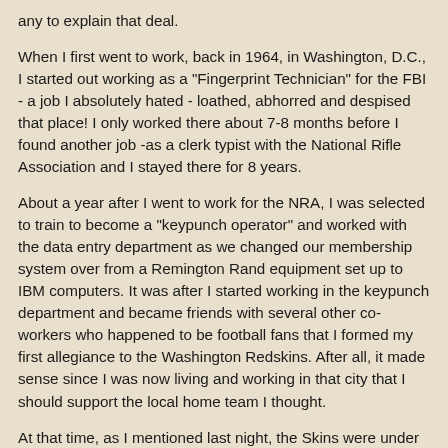any to explain that deal.
When I first went to work, back in 1964, in Washington, D.C., I started out working as a "Fingerprint Technician" for the FBI - a job I absolutely hated - loathed, abhorred and despised that place! I only worked there about 7-8 months before I found another job -as a clerk typist with the National Rifle Association and I stayed there for 8 years.
About a year after I went to work for the NRA, I was selected to train to become a "keypunch operator" and worked with the data entry department as we changed our membership system over from a Remington Rand equipment set up to IBM computers. It was after I started working in the keypunch department and became friends with several other co-workers who happened to be football fans that I formed my first allegiance to the Washington Redskins. After all, it made sense since I was now living and working in that city that I should support the local home team I thought.
At that time, as I mentioned last night, the Skins were under the leadership of Otto Graham and their record then was